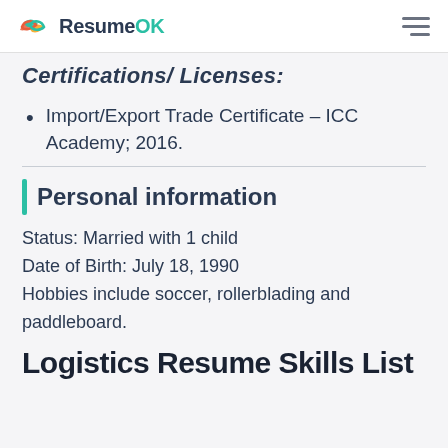ResumeOK
Certifications/ Licenses:
Import/Export Trade Certificate – ICC Academy; 2016.
Personal information
Status: Married with 1 child
Date of Birth: July 18, 1990
Hobbies include soccer, rollerblading and paddleboard.
Logistics Resume Skills List